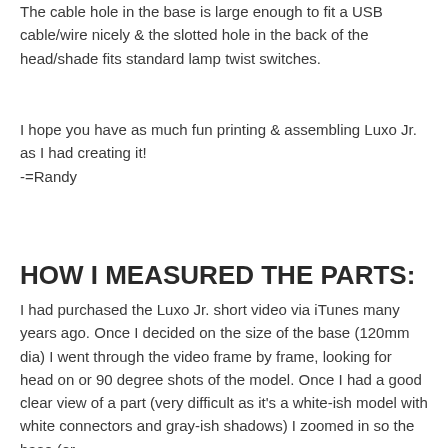The cable hole in the base is large enough to fit a USB cable/wire nicely & the slotted hole in the back of the head/shade fits standard lamp twist switches.
I hope you have as much fun printing & assembling Luxo Jr. as I had creating it!
-=Randy
HOW I MEASURED THE PARTS:
I had purchased the Luxo Jr. short video via iTunes many years ago. Once I decided on the size of the base (120mm dia) I went through the video frame by frame, looking for head on or 90 degree shots of the model. Once I had a good clear view of a part (very difficult as it's a white-ish model with white connectors and gray-ish shadows) I zoomed in so the base (or